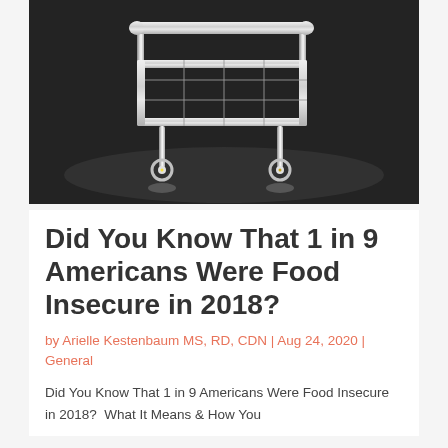[Figure (photo): Close-up photo of a chrome/silver shopping cart on a dark background, photographed from below showing the cart basket and wheels with reflective light on dark surface]
Did You Know That 1 in 9 Americans Were Food Insecure in 2018?
by Arielle Kestenbaum MS, RD, CDN | Aug 24, 2020 | General
Did You Know That 1 in 9 Americans Were Food Insecure in 2018?  What It Means & How You